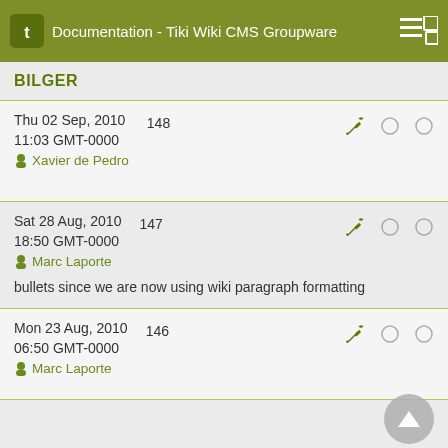Documentation - Tiki Wiki CMS Groupware
BILGER
| Date/User | Version | Actions |
| --- | --- | --- |
| Thu 02 Sep, 2010 11:03 GMT-0000
Xavier de Pedro | 148 | wrench, radio, radio |
| Sat 28 Aug, 2010 18:50 GMT-0000
Marc Laporte
bullets since we are now using wiki paragraph formatting | 147 | wrench, radio, radio |
| Mon 23 Aug, 2010 06:50 GMT-0000
Marc Laporte | 146 | wrench, radio, radio |